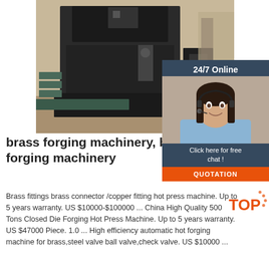[Figure (photo): Industrial brass forging press machine photographed in a factory setting, large dark metal frame with mechanical components]
[Figure (photo): 24/7 Online customer service panel showing a smiling woman with headset and options to click for free chat or get quotation]
brass forging machinery, brass forging machinery
Brass fittings brass connector /copper fitting hot press machine. Up to 5 years warranty. US $10000-$100000 ... China High Quality 500 Tons Closed Die Forging Hot Press Machine. Up to 5 years warranty. US $47000 Piece. 1.0 ... High efficiency automatic hot forging machine for brass,steel valve ball valve,check valve. US $10000 ...